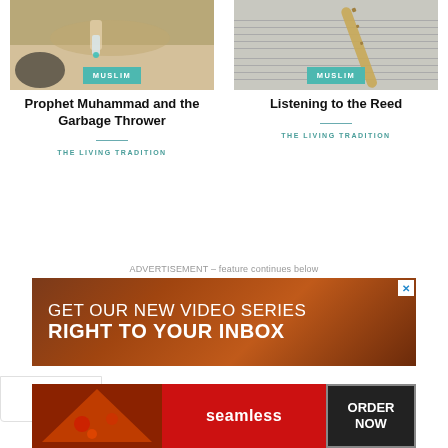[Figure (photo): Photo of a hand picking up a plastic bottle on a sandy beach with a black garbage bag]
MUSLIM
Prophet Muhammad and the Garbage Thrower
THE LIVING TRADITION
[Figure (photo): Photo of a flute/reed instrument resting on sheet music]
MUSLIM
Listening to the Reed
THE LIVING TRADITION
ADVERTISEMENT – feature continues below
[Figure (photo): Advertisement banner with dark red/brown background reading GET OUR NEW VIDEO SERIES RIGHT TO YOUR INBOX]
[Figure (photo): Seamless food delivery advertisement showing pizza with ORDER NOW button]